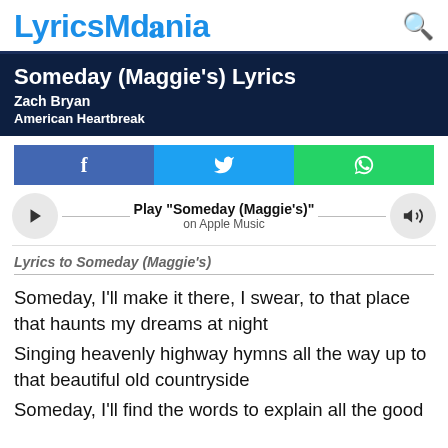LyricsMania
Someday (Maggie's) Lyrics
Zach Bryan
American Heartbreak
[Figure (infographic): Social share buttons: Facebook (blue), Twitter (cyan), WhatsApp (green)]
[Figure (infographic): Apple Music player row with play button, Play "Someday (Maggie's)" on Apple Music, and volume button]
Lyrics to Someday (Maggie's)
Someday, I'll make it there, I swear, to that place that haunts my dreams at night
Singing heavenly highway hymns all the way up to that beautiful old countryside
Someday, I'll find the words to explain all the good